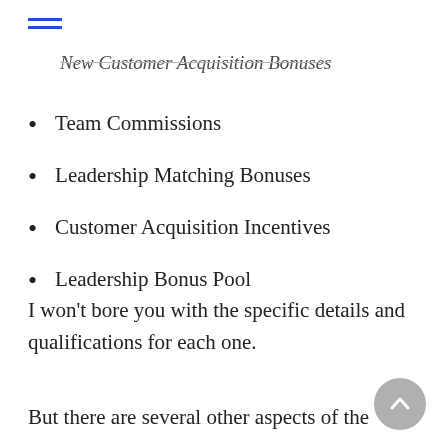New Customer Acquisition Bonuses
Team Commissions
Leadership Matching Bonuses
Customer Acquisition Incentives
Leadership Bonus Pool
I won't bore you with the specific details and qualifications for each one.
But there are several other aspects of the